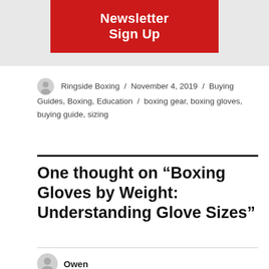[Figure (other): Newsletter Sign Up button — red background with white bold text]
Ringside Boxing / November 4, 2019 / Buying Guides, Boxing, Education / boxing gear, boxing gloves, buying guide, sizing
One thought on “Boxing Gloves by Weight: Understanding Glove Sizes”
Owen